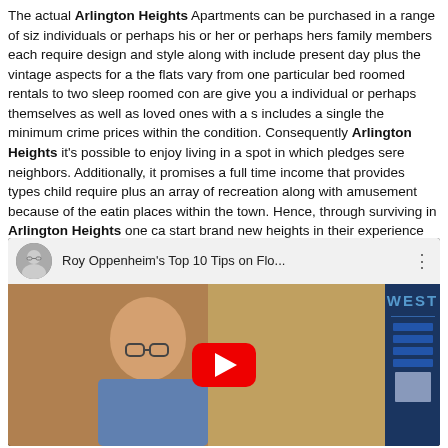The actual Arlington Heights Apartments can be purchased in a range of sizes for individuals or perhaps his or her or perhaps hers family members each require design and style along with include present day plus the vintage aspects for a the flats vary from one particular bed roomed rentals to two sleep roomed con are give you a individual or perhaps themselves as well as loved ones with a s includes a single the minimum crime prices within the condition. Consequently Arlington Heights it's possible to enjoy living in a spot in which pledges sere neighbors. Additionally, it promises a full time income that provides types child require plus an array of recreation along with amusement because of the eatin places within the town. Hence, through surviving in Arlington Heights one ca start brand new heights in their experience and alter their own previous aspe part of the culture that gives you the protection that you simply and also the in
[Figure (screenshot): YouTube video embed showing Roy Oppenheim's Top 10 Tips on Flo... with a man in glasses and a blue shirt visible in the thumbnail, a red YouTube play button overlay, and a 'WEST' branded panel on the right side.]